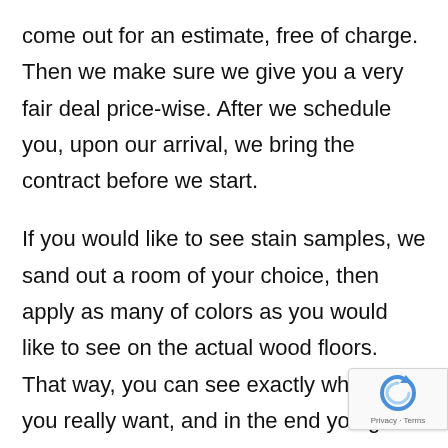come out for an estimate, free of charge. Then we make sure we give you a very fair deal price-wise. After we schedule you, upon our arrival, we bring the contract before we start.
If you would like to see stain samples, we sand out a room of your choice, then apply as many of colors as you would like to see on the actual wood floors. That way, you can see exactly what color you really want, and in the end you get what you see on the floor. Sometimes the pictures of colors on char appear different on the floors. We take our
[Figure (logo): Google reCAPTCHA badge with blue circular arrow icon and 'Privacy · Terms' text]